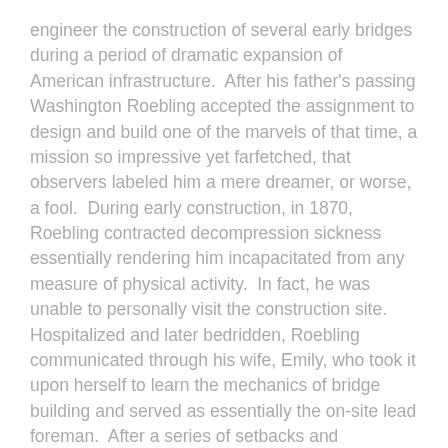engineer the construction of several early bridges during a period of dramatic expansion of American infrastructure. After his father's passing Washington Roebling accepted the assignment to design and build one of the marvels of that time, a mission so impressive yet farfetched, that observers labeled him a mere dreamer, or worse, a fool. During early construction, in 1870, Roebling contracted decompression sickness essentially rendering him incapacitated from any measure of physical activity. In fact, he was unable to personally visit the construction site. Hospitalized and later bedridden, Roebling communicated through his wife, Emily, who took it upon herself to learn the mechanics of bridge building and served as essentially the on-site lead foreman. After a series of setbacks and challenges, finally in 1883 the 1600 foot cable-stayed/suspension Brooklyn Bridge opened across the East River connecting Manhattan to Brooklyn.
The challenge now, for you and me, lies in how we take our next steps. We see the opportunity, what is the next "why" to